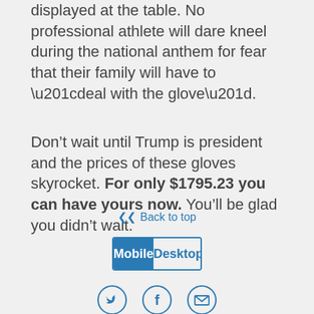displayed at the table. No professional athlete will dare kneel during the national anthem for fear that their family will have to “deal with the glove”.
Don’t wait until Trump is president and the prices of these gloves skyrocket. For only $1795.23 you can have yours now. You’ll be glad you didn’t wait.
« Back to top
Mobile | Desktop
[Figure (infographic): Social sharing icons: Twitter bird, Facebook f, and envelope/email, each in a circle outline]